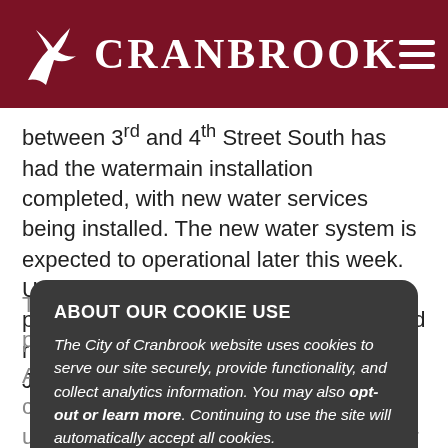CRANBROOK
between 3rd and 4th Street South has had the watermain installation completed, with new water services being installed. The new water system is expected to operational later this week. Upgrades to the storm sewer is also in progress. Road construction, grading and repaving is scheduled to begin in mid-June.
The second major road reconstruction project on 8th Street South from 2nd Avenue South to 5th Avenue South currently has the watermain installation underway. Once complete the new water system going operational, road construction, grading and repaving to begin mid-June.
ABOUT OUR COOKIE USE
The City of Cranbrook website uses cookies to serve our site securely, provide functionality, and collect analytics information. You may also opt-out or learn more. Continuing to use the site will automatically accept all cookies.
ACCEPT
"Council and I are very pleased with the Capital Works program this year and how it is being done," says Mayor Lee Pratt. "I'd like to thank all